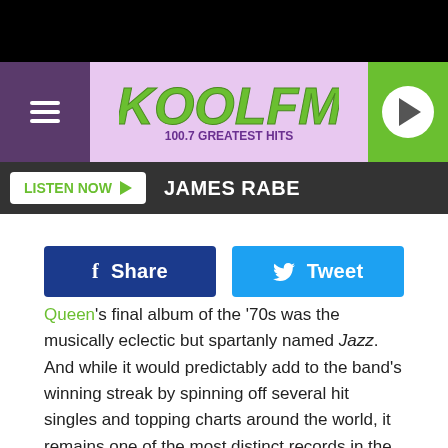[Figure (screenshot): KOOL FM 100.7 Greatest Hits radio station website screenshot showing header banner with purple/lavender background and KOOL FM logo, hamburger menu on left, play button on right]
LISTEN NOW   JAMES RABE
[Figure (other): Facebook Share button (dark blue) and Twitter Tweet button (light blue)]
Queen's final album of the '70s was the musically eclectic but spartanly named Jazz. And while it would predictably add to the band's winning streak by spinning off several hit singles and topping charts around the world, it remains one of the most distinct records in the band's discography.
Released on Nov. 10, 1978, Jazz was the first of several albums recorded, for tax purposes, outside of Queen's British homeland (beginning in Zurich, Switzerland, and concluding in Nice, France), and the last to feature a co-production